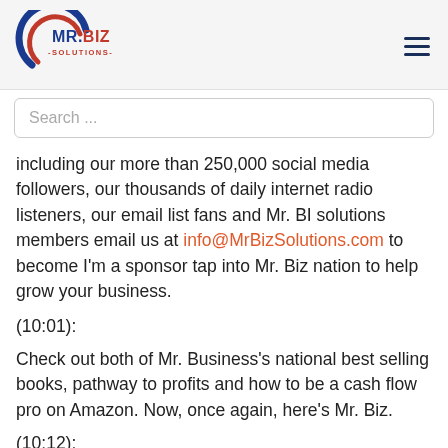[Figure (logo): Mr. Biz Solutions logo with circular swoosh in blue and red, text MR.BIZ in blue and dark red, -SOLUTIONS- in red below]
Search ...
including our more than 250,000 social media followers, our thousands of daily internet radio listeners, our email list fans and Mr. BI solutions members email us at info@MrBizSolutions.com to become I'm a sponsor tap into Mr. Biz nation to help grow your business.
(10:01):
Check out both of Mr. Business's national best selling books, pathway to profits and how to be a cash flow pro on Amazon. Now, once again, here's Mr. Biz.
(10:12):